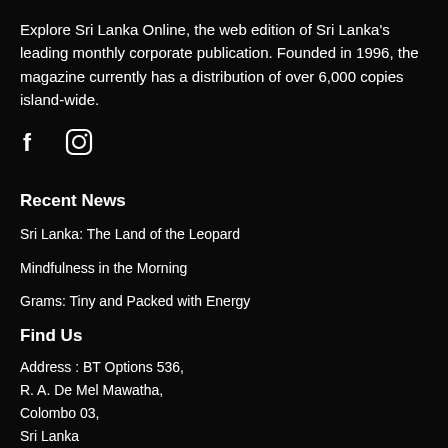Explore Sri Lanka Online, the web edition of Sri Lanka's leading monthly corporate publication. Founded in 1996, the magazine currently has a distribution of over 6,000 copies island-wide.
[Figure (other): Social media icons: Facebook (f) and Instagram (camera/circle icon)]
Recent News
Sri Lanka: The Land of the Leopard
Mindfulness in the Morning
Grams: Tiny and Packed with Energy
Find Us
Address : BT Options 536,
R. A. De Mel Mawatha,
Colombo 03,
Sri Lanka